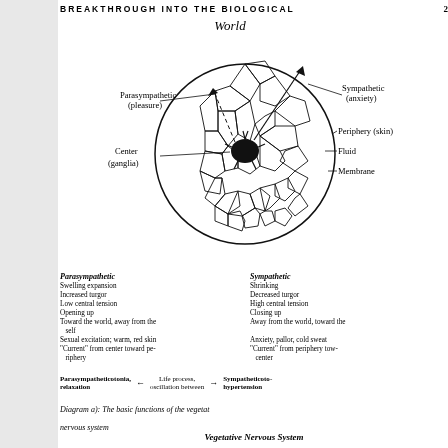BREAKTHROUGH INTO THE BIOLOGICAL   2
[Figure (schematic): Diagram of a biological cell as a circle with a dark center (ganglia), surrounded by cracked/segmented tissue patterns representing the periphery (skin), fluid, and membrane. Arrows indicate Parasympathetic (pleasure) direction upper-left with dashed arrow, and Sympathetic (anxiety) direction upper-right. Labels: World (top), Parasympathetic (pleasure) left, Sympathetic (anxiety) right, Periphery (skin) right, Fluid right, Membrane right, Center (ganglia) left.]
Parasympathetic
Swelling expansion
Increased turgor
Low central tension
Opening up
Toward the world, away from the self
Sexual excitation; warm, red skin
"Current" from center toward periphery
Sympathetic
Shrinking
Decreased turgor
High central tension
Closing up
Away from the world, toward the
Anxiety, pallor, cold sweat
"Current" from periphery toward center
Parasympatheticotonia, relaxation  ←  Life process, oscillation between  →  Sympatheticotonia, hypertension
Diagram a): The basic functions of the vegetative nervous system
Vegetative Nervous System